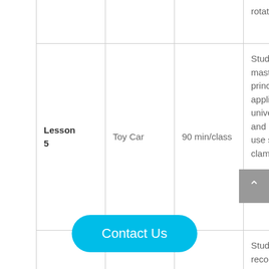| Lesson | Topic | Time | Description |
| --- | --- | --- | --- |
|  |  |  | rotation. |
| Lesson 5 | Toy Car | 90 min/class | Students master the principle and application of universal joint, and learn tips to use shaft clamp. |
|  |  |  | Students recognize different synchronous pulleys and belts, learn how to |
Contact Us